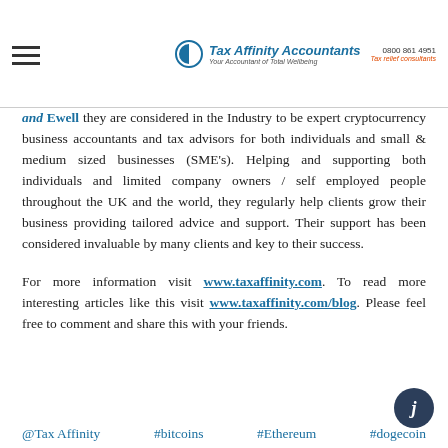Tax Affinity Accountants logo and navigation header
and Ewell they are considered in the Industry to be expert cryptocurrency business accountants and tax advisors for both individuals and small & medium sized businesses (SME's). Helping and supporting both individuals and limited company owners / self employed people throughout the UK and the world, they regularly help clients grow their business providing tailored advice and support. Their support has been considered invaluable by many clients and key to their success.
For more information visit www.taxaffinity.com. To read more interesting articles like this visit www.taxaffinity.com/blog. Please feel free to comment and share this with your friends.
@Tax Affinity  #bitcoins  #Ethereum  #dogecoin